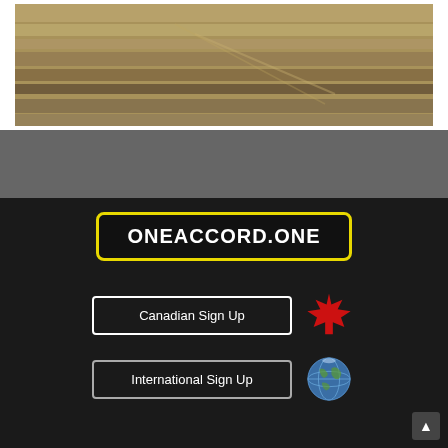[Figure (photo): Close-up photo of wooden planks or stairs with warm tan/brown tones, blurred background]
[Figure (screenshot): Dark gray section background]
[Figure (logo): ONEACCORD.ONE logo — black background with yellow border, white bold text]
Canadian Sign Up
[Figure (illustration): Red maple leaf emoji icon]
International Sign Up
[Figure (illustration): Globe/earth emoji icon]